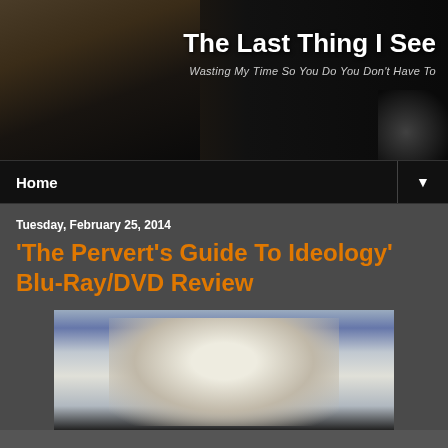The Last Thing I See — Wasting My Time So You Do You Don't Have To
Home
Tuesday, February 25, 2014
'The Pervert's Guide To Ideology' Blu-Ray/DVD Review
[Figure (photo): A man in a white t-shirt with arms raised in a room with dramatic lighting]